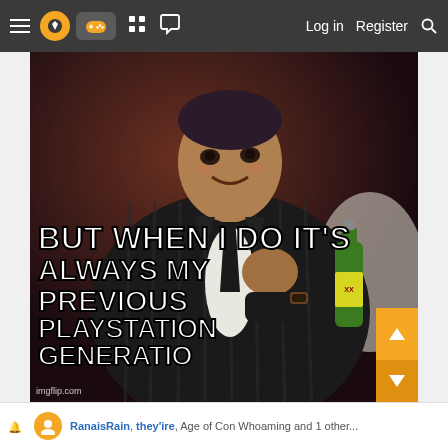≡ [logo] [controller icon] [grid icon] [chat icon]   Log in   Register  🔍
[Figure (photo): Meme image based on 'The Most Interesting Man in the World' Dos Equis advertisement format, showing a man in a black pinstripe suit sitting with a green bottle of beer beside him. Overlaid bold white Impact font text reads: 'BUT WHEN I DO IT'S ALWAYS MY PREVIOUS PLAYSTATION GENERATIO...' with imgflip.com watermark in bottom left.]
RanaisRain, they'ire, Age of Con Whoaming and 1 other...